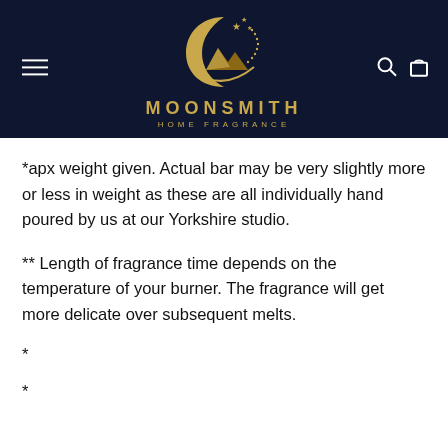[Figure (logo): Moonsmith Home Fragrance logo: golden crescent moon with mountain peaks and stars on dark navy background, with brand name MOONSMITH and tagline HOME FRAGRANCE in gold]
*apx weight given. Actual bar may be very slightly more or less in weight as these are all individually hand poured by us at our Yorkshire studio.
** Length of fragrance time depends on the temperature of your burner. The fragrance will get more delicate over subsequent melts.
*
*